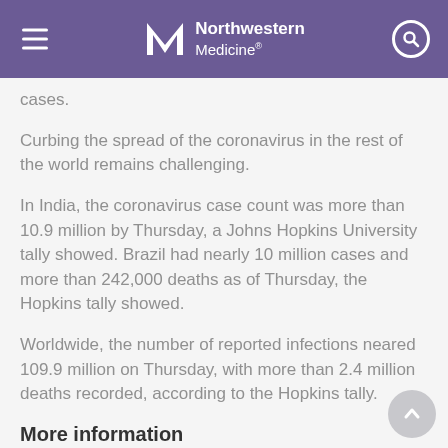Northwestern Medicine
cases.
Curbing the spread of the coronavirus in the rest of the world remains challenging.
In India, the coronavirus case count was more than 10.9 million by Thursday, a Johns Hopkins University tally showed. Brazil had nearly 10 million cases and more than 242,000 deaths as of Thursday, the Hopkins tally showed.
Worldwide, the number of reported infections neared 109.9 million on Thursday, with more than 2.4 million deaths recorded, according to the Hopkins tally.
More information